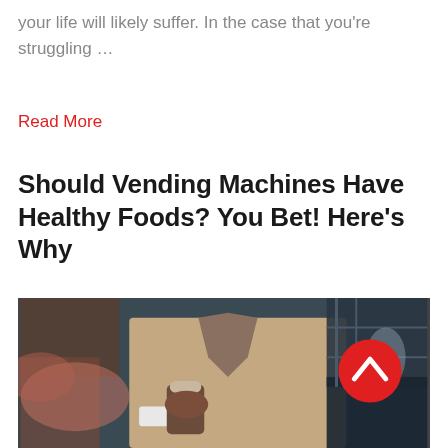your life will likely suffer. In the case that you're struggling …
Read More
Should Vending Machines Have Healthy Foods? You Bet! Here's Why
[Figure (photo): A person in a beige blazer holding a coffee cup, photographed outdoors in an urban setting with a red scroll-to-top button overlay in the bottom right corner of the image.]